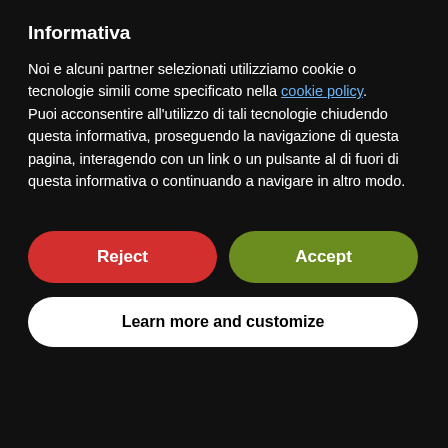Informativa
Noi e alcuni partner selezionati utilizziamo cookie o tecnologie simili come specificato nella cookie policy. Puoi acconsentire all'utilizzo di tali tecnologie chiudendo questa informativa, proseguendo la navigazione di questa pagina, interagendo con un link o un pulsante al di fuori di questa informativa o continuando a navigare in altro modo.
Reject
Accept
Learn more and customize
environmental impact, always comply with the most stringent safety standards for operator protection and nature.
Preserving and handing down the traditions of their predecessors, Gabriella and Danilo